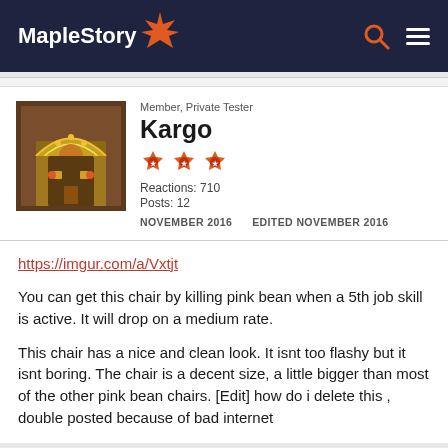MapleStory
Member, Private Tester
Kargo
Reactions: 710
Posts: 12
NOVEMBER 2016   EDITED NOVEMBER 2016
https://imgur.com/a/Vxtjt

You can get this chair by killing pink bean when a 5th job skill is active. It will drop on a medium rate.

This chair has a nice and clean look. It isnt too flashy but it isnt boring. The chair is a decent size, a little bigger than most of the other pink bean chairs. [Edit] how do i delete this , double posted because of bad internet